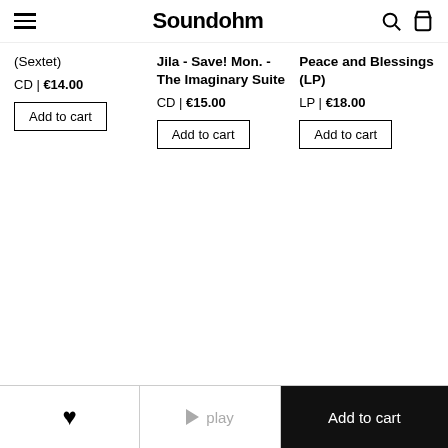Soundohm
(Sextet)
CD | €14.00
Jila - Save! Mon. - The Imaginary Suite
CD | €15.00
Peace and Blessings (LP)
LP | €18.00
♥  play  Add to cart